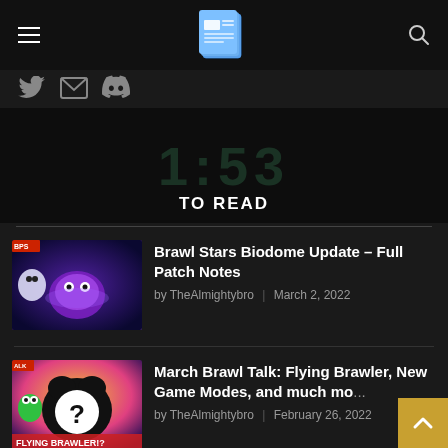≡  [logo]  🔍
[Figure (screenshot): Social media icons: Twitter bird, envelope/email, Discord]
[Figure (screenshot): Dark game background screenshot area with faint text overlay]
TO READ
Brawl Stars Biodome Update – Full Patch Notes by TheAlmightybro | March 2, 2022
March Brawl Talk: Flying Brawler, New Game Modes, and much mo... by TheAlmightybro | February 26, 2022